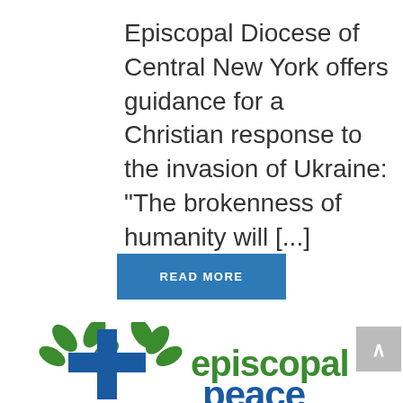Episcopal Diocese of Central New York offers guidance for a Christian response to the invasion of Ukraine: "The brokenness of humanity will [...]
READ MORE
[Figure (logo): Episcopal Peace Fellowship logo: a blue cross with green leaves on either side, next to the text 'episcopal peace' in green and blue bold sans-serif font]